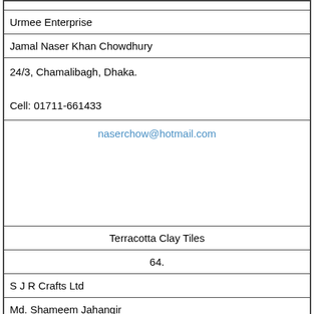| Urmee Enterprise |
| Jamal Naser Khan Chowdhury |
| 24/3, Chamalibagh, Dhaka.

Cell: 01711-661433 |
| naserchow@hotmail.com |
| Terracotta Clay Tiles |
| 64. |
| S J R Crafts Ltd |
| Md. Shameem Jahangir |
| House- NHB-10/B-1, Flat No# B1, Mirpur-14, Kafrul, Dhaka.

Cell: 01781373107 |
| shameempost@gmail.com |